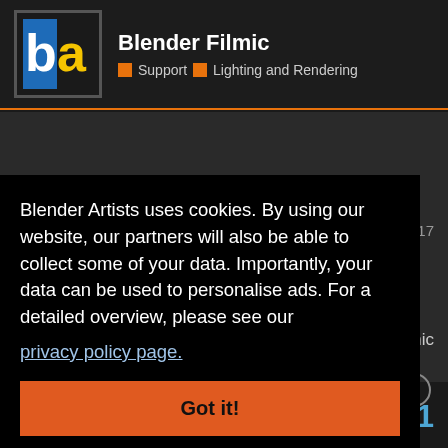Blender Filmic | Support | Lighting and Rendering
Blender Artists uses cookies. By using our website, our partners will also be able to collect some of your data. Importantly, your data can be used to personalise ads. For a detailed overview, please see our privacy policy page.
Got it!
Jun 2017
Filmic
51